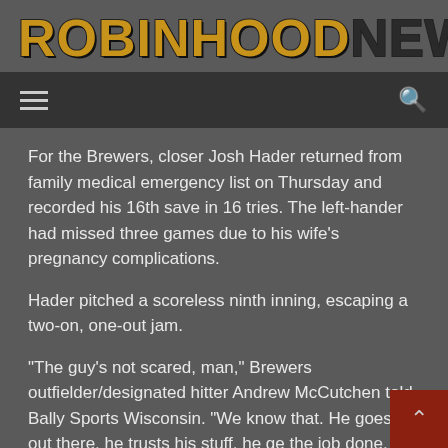[Figure (logo): Robin Hood News logo in large bold stylized text with gold/brown coloring for ROBINHOOD and dark for NEWS]
Navigation bar with hamburger menu and search icon
For the Brewers, closer Josh Hader returned from family medical emergency list on Thursday and recorded his 16th save in 16 tries. The left-hander had missed three games due to his wife's pregnancy complications.
Hader pitched a scoreless ninth inning, escaping a two-on, one-out jam.
"The guy's not scared, man," Brewers outfielder/designated hitter Andrew McCutchen told Bally Sports Wisconsin. "We know that. He goes out there, he trusts his stuff, he ge the job done. Even with taking the time that he did...